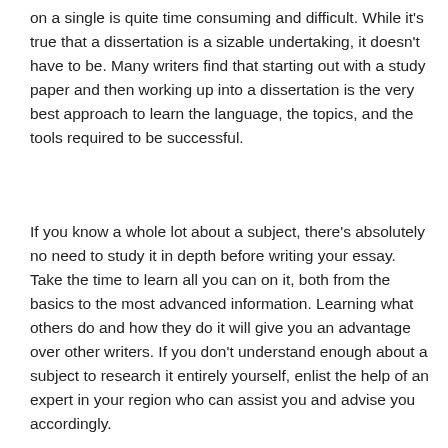on a single is quite time consuming and difficult. While it's true that a dissertation is a sizable undertaking, it doesn't have to be. Many writers find that starting out with a study paper and then working up into a dissertation is the very best approach to learn the language, the topics, and the tools required to be successful.
If you know a whole lot about a subject, there's absolutely no need to study it in depth before writing your essay. Take the time to learn all you can on it, both from the basics to the most advanced information. Learning what others do and how they do it will give you an advantage over other writers. If you don't understand enough about a subject to research it entirely yourself, enlist the help of an expert in your region who can assist you and advise you accordingly.